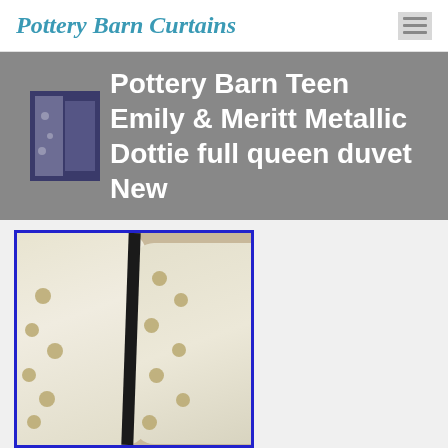Pottery Barn Curtains
Pottery Barn Teen Emily & Meritt Metallic Dottie full queen duvet New
[Figure (photo): Product photo of a white with gold metallic polka dot duvet/fabric folded and bundled with a dark strap, shown against a light background.]